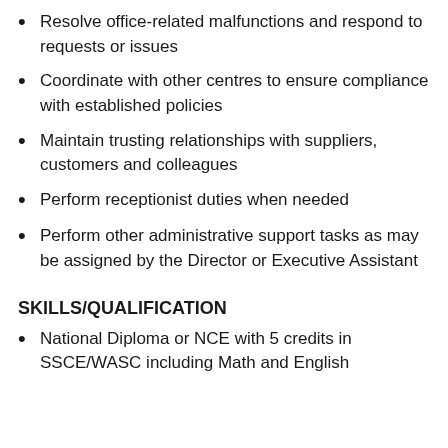Resolve office-related malfunctions and respond to requests or issues
Coordinate with other centres to ensure compliance with established policies
Maintain trusting relationships with suppliers, customers and colleagues
Perform receptionist duties when needed
Perform other administrative support tasks as may be assigned by the Director or Executive Assistant
SKILLS/QUALIFICATION
National Diploma or NCE with 5 credits in SSCE/WASC including Math and English